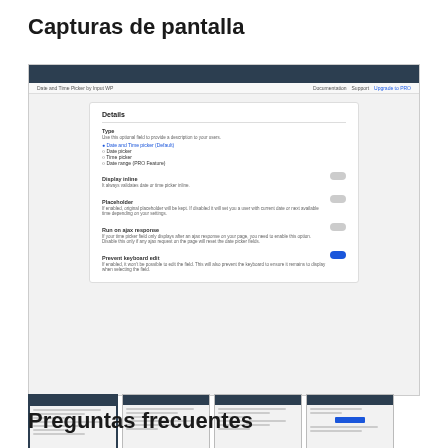Capturas de pantalla
[Figure (screenshot): Screenshot of a web application showing a Details panel with fields: Type (Date and Time picker selected as default, Date picker, Time picker, Date range PRO Feature), Display inline with toggle off, Placeholder with toggle off, Run on ajax response with toggle off, Prevent keyboard edit with toggle on. Navigation bar shows: Date and Time Picker by Input WP | Documentation | Support | Upgrade to PRO]
Details
[Figure (screenshot): Thumbnail 1: screenshot]
[Figure (screenshot): Thumbnail 2: screenshot]
[Figure (screenshot): Thumbnail 3: screenshot]
[Figure (screenshot): Thumbnail 4: screenshot with blue element]
Preguntas frecuentes